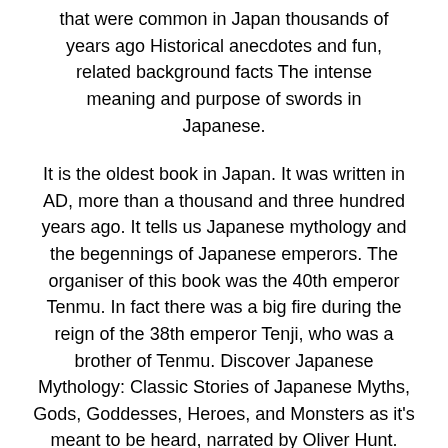that were common in Japan thousands of years ago Historical anecdotes and fun, related background facts The intense meaning and purpose of swords in Japanese.
It is the oldest book in Japan. It was written in AD, more than a thousand and three hundred years ago. It tells us Japanese mythology and the begennings of Japanese emperors. The organiser of this book was the 40th emperor Tenmu. In fact there was a big fire during the reign of the 38th emperor Tenji, who was a brother of Tenmu. Discover Japanese Mythology: Classic Stories of Japanese Myths, Gods, Goddesses, Heroes, and Monsters as it's meant to be heard, narrated by Oliver Hunt. Free trial available!   Readers of Japanese Mythology will learn the history of myths, as well as their deeper meaning. From the ruler of the heavens Amaterasu to Ryujin, the dragon king of the sea, this book helps kids